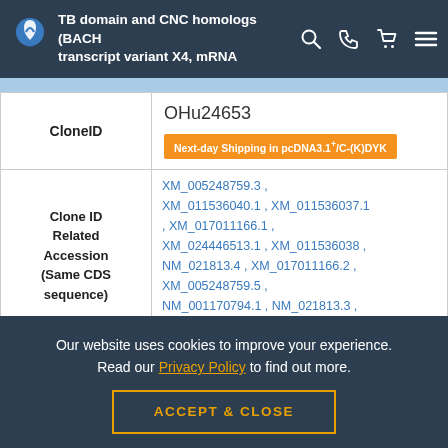TB domain and CNC homologs (BACH) transcript variant X4, mRNA
| Field | Value |
| --- | --- |
| CloneID | OHu24653
Next-day Shipping in pcDNA3.1+/C-(K)DYK |
| Clone ID Related Accession (Same CDS sequence) | XM_005248759.3 , XM_011536040.1 , XM_011536037.1 , XM_017011166.1 , XM_024446513.1 , XM_011536038 , NM_021813.4 , XM_017011166.2 , XM_005248759.5 , NM_001170794.1 , NM_021813.3 , XM_011536039.2 , |
Our website uses cookies to improve your experience. Read our Privacy Policy to find out more.
ACCEPT & CLOSE